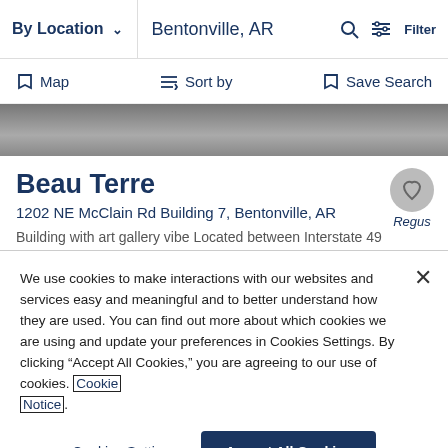By Location  ∨  |  Bentonville, AR  🔍  Filter
Map    Sort by    Save Search
[Figure (photo): Grayscale banner photo of a building interior/exterior]
Beau Terre
1202 NE McClain Rd Building 7, Bentonville, AR
Building with art gallery vibe Located between Interstate 49 and Highway 72 1202 NE McClain Road will give you a fast
We use cookies to make interactions with our websites and services easy and meaningful and to better understand how they are used. You can find out more about which cookies we are using and update your preferences in Cookies Settings. By clicking "Accept All Cookies," you are agreeing to our use of cookies. Cookie Notice.
Cookies Settings
Accept All Cookies